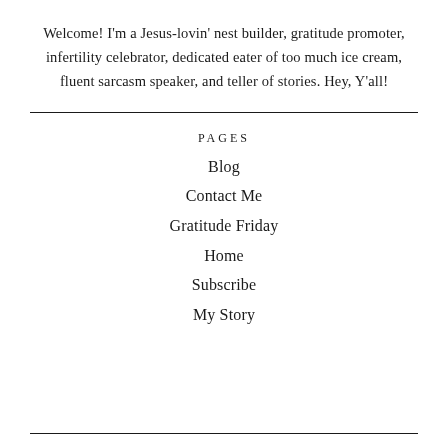Welcome! I'm a Jesus-lovin' nest builder, gratitude promoter, infertility celebrator, dedicated eater of too much ice cream, fluent sarcasm speaker, and teller of stories. Hey, Y'all!
PAGES
Blog
Contact Me
Gratitude Friday
Home
Subscribe
My Story